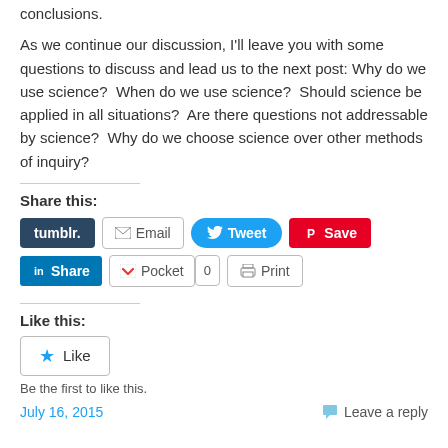conclusions.
As we continue our discussion, I'll leave you with some questions to discuss and lead us to the next post: Why do we use science?  When do we use science?  Should science be applied in all situations?  Are there questions not addressable by science?  Why do we choose science over other methods of inquiry?
Share this:
[Figure (screenshot): Social sharing buttons: Tumblr, Email, Tweet, Save (Pinterest), LinkedIn Share, Pocket with count 0, Print]
Like this:
[Figure (screenshot): WordPress Like button widget]
Be the first to like this.
July 16, 2015    Leave a reply